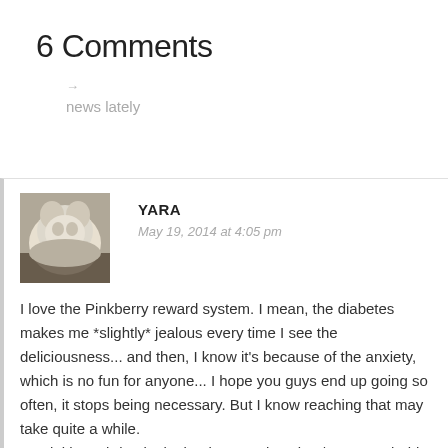6 Comments
→
news lately
YARA
May 19, 2014 at 4:05 pm
I love the Pinkberry reward system. I mean, the diabetes makes me *slightly* jealous every time I see the deliciousness... and then, I know it's because of the anxiety, which is no fun for anyone... I hope you guys end up going so often, it stops being necessary. But I know reaching that may take quite a while.
Lorelei has abdominal migraines, and anxiety/stress probably contribute. Makes me glad we can do a lot